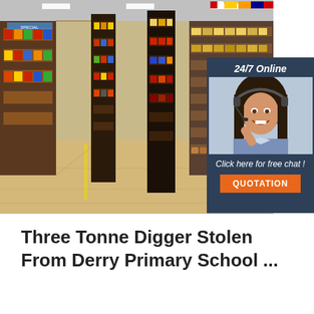[Figure (photo): Supermarket aisle with shelves stocked with various products, wooden floor, bright lighting. An advertisement overlay in the top-right corner shows a woman with a headset, text '24/7 Online', 'Click here for free chat!', and an orange 'QUOTATION' button.]
Three Tonne Digger Stolen From Derry Primary School ...